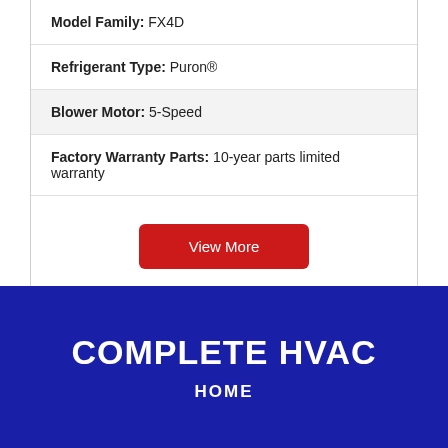Model Family: FX4D
Refrigerant Type: Puron®
Blower Motor: 5-Speed
Factory Warranty Parts: 10-year parts limited warranty
View More
COMPLETE HVAC
HOME